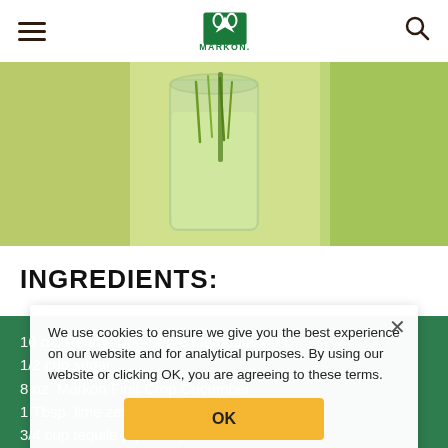MARKON. (logo with hamburger menu and search icon)
[Figure (photo): A glass of margarita mix with lime zest garnish on a light background, cropped top portion showing drink in a mason jar style glass.]
INGREDIENTS:
16 oz. Ready-Set-Serve Margarita Mix
1/2 cup sugar
8 oz. Markon First Crop Cucumber
1 Tbsp. lime zest of Markon First Crop Limes
3/4 cup tequila (optional)
We use cookies to ensure we give you the best experience on our website and for analytical purposes. By using our website or clicking OK, you are agreeing to these terms.
OK